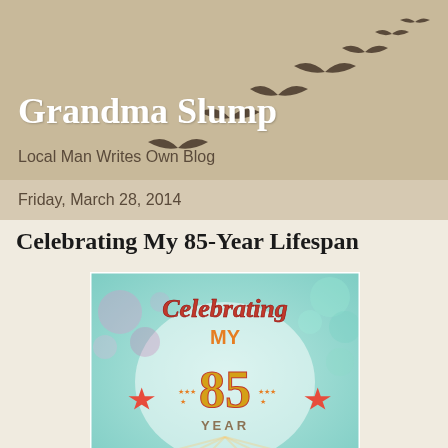Grandma Slump
Local Man Writes Own Blog
Friday, March 28, 2014
Celebrating My 85-Year Lifespan
[Figure (illustration): Colorful celebration graphic with text 'Celebrating MY 85 YEAR LIFESPAN', orange stars, bokeh background in teal and pink]